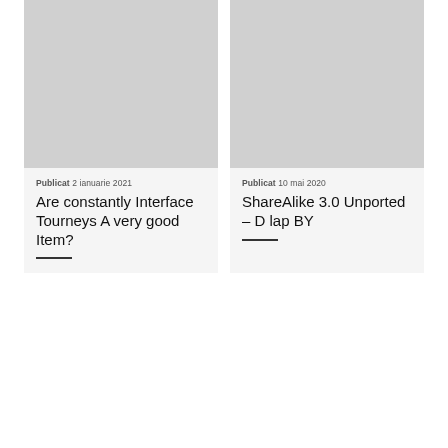[Figure (photo): Gray placeholder image for article card 1]
Publicat 2 ianuarie 2021
Are constantly Interface Tourneys A very good Item?
[Figure (photo): Gray placeholder image for article card 2]
Publicat 10 mai 2020
ShareAlike 3.0 Unported – D lap BY